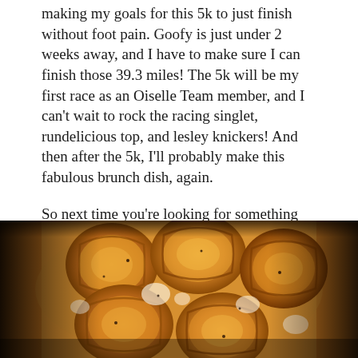making my goals for this 5k to just finish without foot pain. Goofy is just under 2 weeks away, and I have to make sure I can finish those 39.3 miles! The 5k will be my first race as an Oiselle Team member, and I can't wait to rock the racing singlet, rundelicious top, and lesley knickers! And then after the 5k, I'll probably make this fabulous brunch dish, again.
So next time you're looking for something brunch-y to eat, you can give this a try. It isn't really a frittata, or a strata, or a crustless quiche. I suppose it's more of a Sweet Potato Egg Pie… so that's what we'll call it. Cheers to a happy and healthy 2013!
[Figure (photo): Close-up photograph of a Sweet Potato Egg Pie in a dark baking dish, showing sliced sweet potatoes arranged in a golden egg custard, baked until golden-orange with some white egg whites visible between the potato slices.]